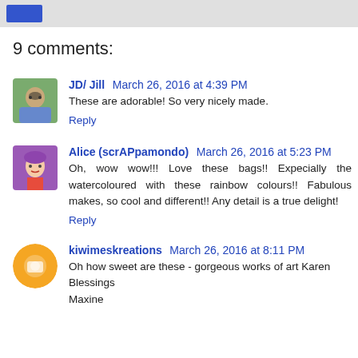9 comments:
JD/ Jill  March 26, 2016 at 4:39 PM
These are adorable! So very nicely made.
Reply
Alice (scrAPpamondo)  March 26, 2016 at 5:23 PM
Oh, wow wow!!! Love these bags!! Expecially the watercoloured with these rainbow colours!! Fabulous makes, so cool and different!! Any detail is a true delight!
Reply
kiwimeskreations  March 26, 2016 at 8:11 PM
Oh how sweet are these - gorgeous works of art Karen Blessings
Maxine